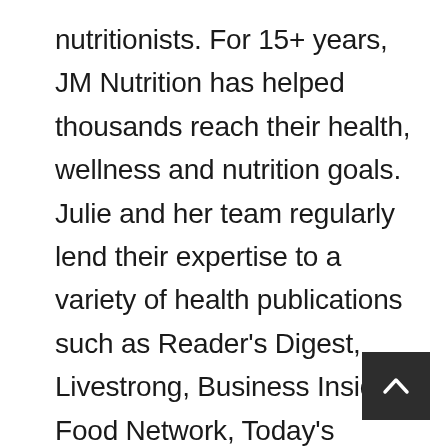nutritionists. For 15+ years, JM Nutrition has helped thousands reach their health, wellness and nutrition goals. Julie and her team regularly lend their expertise to a variety of health publications such as Reader's Digest, Livestrong, Business Insider, Food Network, Today's Parent, MyFitnessPal, Toronto Star, Elle Magazine, Best Life, Weight Watchers and many more.
[Figure (other): Back to top button — dark square button with upward-pointing chevron/arrow icon]